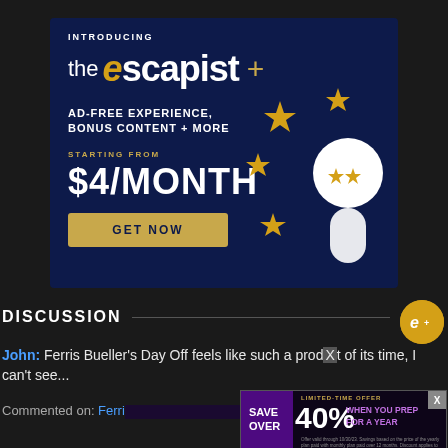[Figure (advertisement): The Escapist+ subscription ad banner on dark navy background. Shows 'INTRODUCING the escapist +' logo, 'AD-FREE EXPERIENCE, BONUS CONTENT + MORE', 'STARTING FROM $4/MONTH', 'GET NOW' button, and a cartoon figure with star eyes and gold stars floating around.]
DISCUSSION
John: Ferris Bueller's Day Off feels like such a product of its time, I can't see...
Commented on: Ferri... ff From Cobra Kai
[Figure (advertisement): Overlay popup ad: LIMITED-TIME OFFER SAVE OVER 40% WHEN YOU PREP FOR A YEAR with fine print below. Purple bar on left side. X close button.]